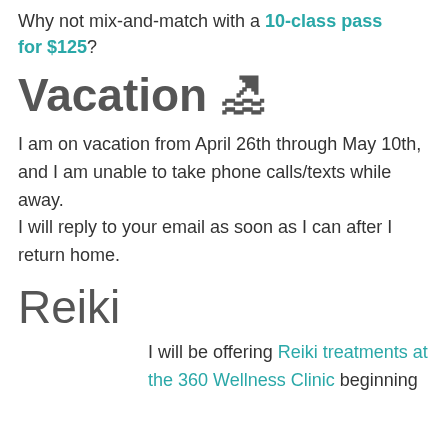Why not mix-and-match with a 10-class pass for $125?
Vacation 🏖
I am on vacation from April 26th through May 10th, and I am unable to take phone calls/texts while away.
I will reply to your email as soon as I can after I return home.
Reiki
I will be offering Reiki treatments at the 360 Wellness Clinic beginning